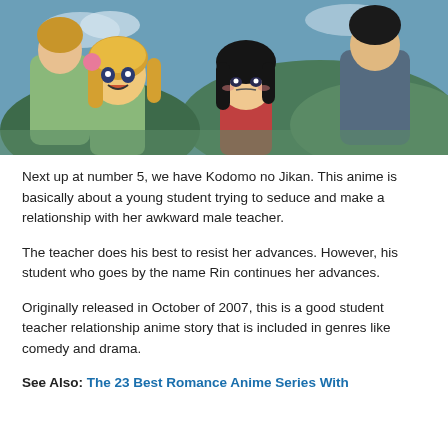[Figure (illustration): Anime screenshot showing cartoon characters from Kodomo no Jikan — two young girls with blonde and black hair in the foreground, with adult characters in the background, set against a blue outdoor background.]
Next up at number 5, we have Kodomo no Jikan. This anime is basically about a young student trying to seduce and make a relationship with her awkward male teacher.
The teacher does his best to resist her advances. However, his student who goes by the name Rin continues her advances.
Originally released in October of 2007, this is a good student teacher relationship anime story that is included in genres like comedy and drama.
See Also: The 23 Best Romance Anime Series With